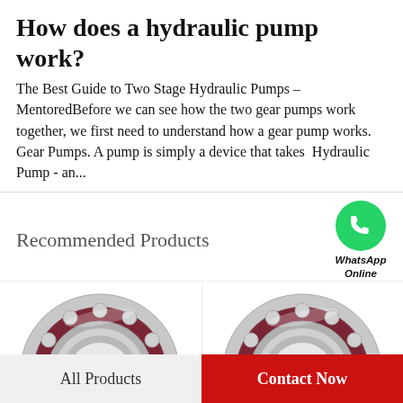How does a hydraulic pump work?
The Best Guide to Two Stage Hydraulic Pumps – MentoredBefore we can see how the two gear pumps work together, we first need to understand how a gear pump works. Gear Pumps. A pump is simply a device that takes  Hydraulic Pump - an...
Recommended Products
[Figure (photo): WhatsApp Online button with green WhatsApp icon]
[Figure (photo): Ball bearing product photo - left, dark red/maroon cage with silver balls]
[Figure (photo): Ball bearing product photo - right, dark red/maroon cage with silver balls]
All Products
Contact Now